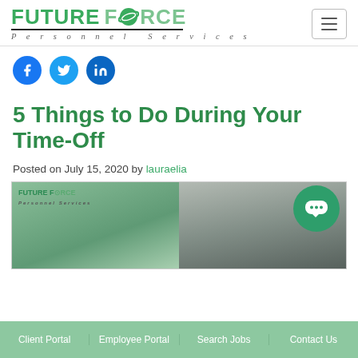FUTURE FORCE Personnel Services
[Figure (logo): Future Force Personnel Services logo with green planet icon]
[Figure (infographic): Three social media icons: Facebook (blue), Twitter (blue), LinkedIn (blue)]
5 Things to Do During Your Time-Off
Posted on July 15, 2020 by lauraelia
[Figure (photo): Featured image for the article showing Future Force Personnel Services branding with a person in background]
Client Portal | Employee Portal | Search Jobs | Contact Us